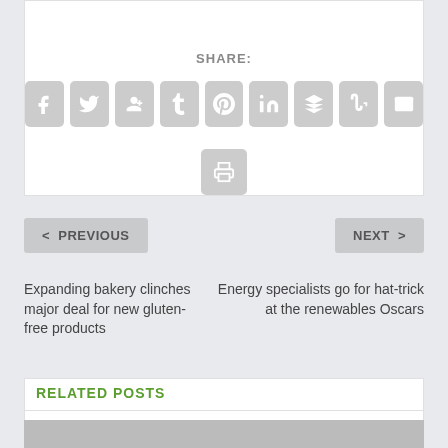SHARE:
[Figure (infographic): Social share buttons: Facebook, Twitter, Google+, Tumblr, Pinterest, LinkedIn, Buffer, StumbleUpon, Email, and Print icons — all rendered as grey rounded square buttons with white icons]
< PREVIOUS
NEXT >
Expanding bakery clinches major deal for new gluten-free products
Energy specialists go for hat-trick at the renewables Oscars
RELATED POSTS